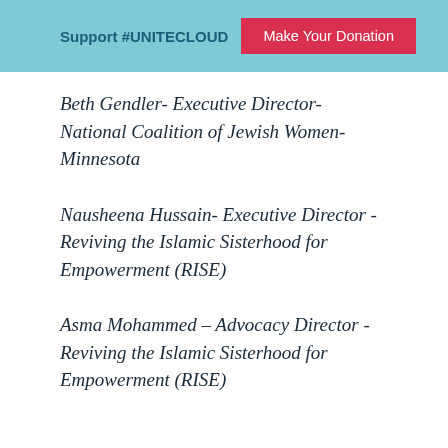Support #UNITECLOUD   Make Your Donation
Beth Gendler- Executive Director-National Coalition of Jewish Women-Minnesota
Nausheena Hussain- Executive Director - Reviving the Islamic Sisterhood for Empowerment (RISE)
Asma Mohammed – Advocacy Director - Reviving the Islamic Sisterhood for Empowerment (RISE)